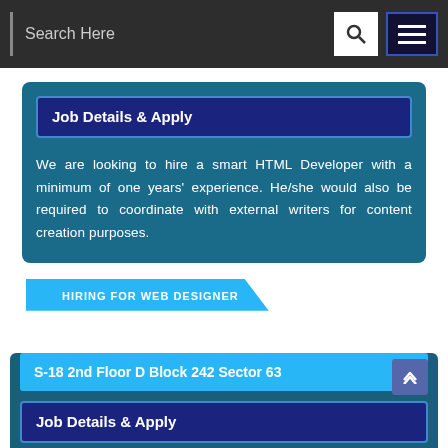Search Here
Job Details & Apply
We are looking to hire a smart HTML Developer with a minimum of one years' experience. He/she would also be required to coordinate with external writers for content creation purposes.
HIRING FOR WEB DESIGNER
S-18 2nd Floor D Block 242 Sector 63
Job Details & Apply